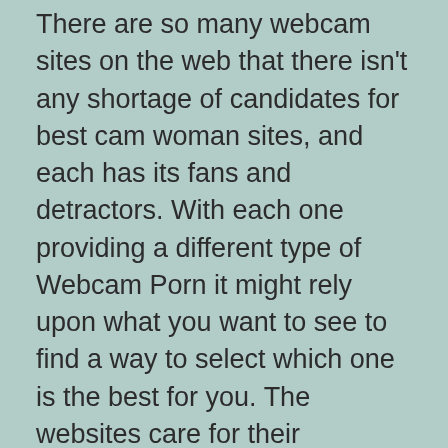There are so many webcam sites on the web that there isn't any shortage of candidates for best cam woman sites, and each has its fans and detractors. With each one providing a different type of Webcam Porn it might rely upon what you want to see to find a way to select which one is the best for you. The websites care for their customers and fashions and keep their personal and cost info safe.
Chatrandom
Online International chat rooms are a spot to satisfy and to strangers/ individuals in a virtual